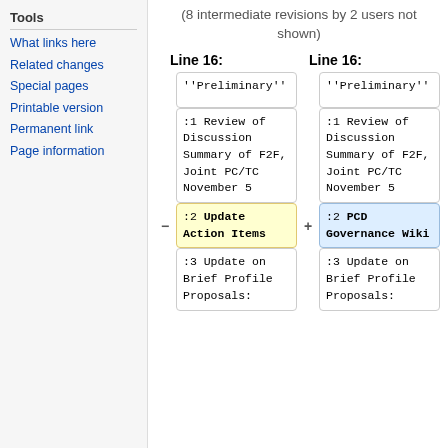Tools
What links here
Related changes
Special pages
Printable version
Permanent link
Page information
(8 intermediate revisions by 2 users not shown)
Line 16:
Line 16:
| Old | New |
| --- | --- |
| ''Preliminary'' | ''Preliminary'' |
| :1 Review of Discussion Summary of F2F, Joint PC/TC November 5 | :1 Review of Discussion Summary of F2F, Joint PC/TC November 5 |
| :2 Update Action Items | :2 PCD Governance Wiki |
| :3 Update on Brief Profile Proposals: | :3 Update on Brief Profile Proposals: |